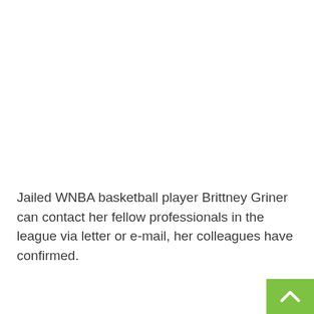Jailed WNBA basketball player Brittney Griner can contact her fellow professionals in the league via letter or e-mail, her colleagues have confirmed.